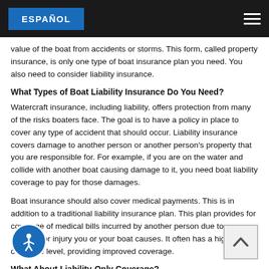ESPAÑOL
value of the boat from accidents or storms. This form, called property insurance, is only one type of boat insurance plan you need. You also need to consider liability insurance.
What Types of Boat Liability Insurance Do You Need?
Watercraft insurance, including liability, offers protection from many of the risks boaters face. The goal is to have a policy in place to cover any type of accident that should occur. Liability insurance covers damage to another person or another person's property that you are responsible for. For example, if you are on the water and collide with another boat causing damage to it, you need boat liability coverage to pay for those damages.
Boat insurance should also cover medical payments. This is in addition to a traditional liability insurance plan. This plan provides for coverage of medical bills incurred by another person due to an accident or injury you or your boat causes. It often has a higher coverage level, providing improved coverage.
What About Liability-Only Coverage?